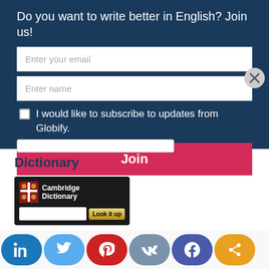Do you want to write better in English? Join us!
Enter your email
Enter name
I would like to subscribe to updates from Globify.
Join
Dictionary
[Figure (screenshot): Cambridge Dictionary widget with logo, text input, and 'Look it up' button on dark background]
[Figure (infographic): Social media share buttons: LinkedIn (blue), Twitter (light blue), Pinterest (red), VK (grey-blue), Facebook (indigo), Share (orange)]